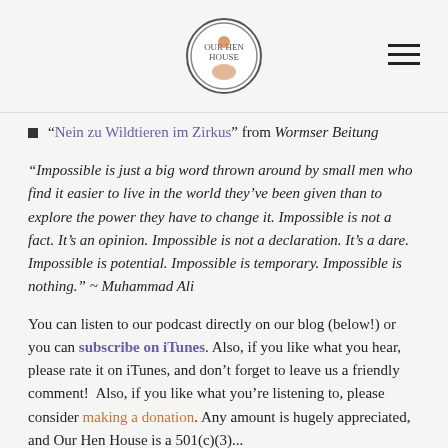[Logo: Our Hen House]
"Nein zu Wildtieren im Zirkus" from Wormser Beitung
"Impossible is just a big word thrown around by small men who find it easier to live in the world they've been given than to explore the power they have to change it. Impossible is not a fact. It's an opinion. Impossible is not a declaration. It's a dare. Impossible is potential. Impossible is temporary. Impossible is nothing." ~ Muhammad Ali
You can listen to our podcast directly on our blog (below!) or you can subscribe on iTunes. Also, if you like what you hear, please rate it on iTunes, and don't forget to leave us a friendly comment!  Also, if you like what you're listening to, please consider making a donation. Any amount is hugely appreciated, and Our Hen House is a 501(c)(3)...